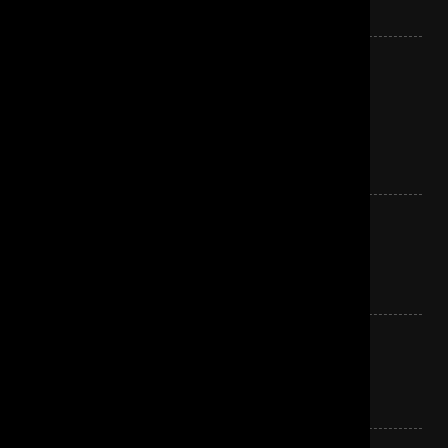they have thousands of songs. no need for patterns.. thats w
jdub Says:
July 14th, 2013 at 7:21 pm
I get the ad during Julius, fitting.

I second that that thanks @AJ. Streaming is the new taping.
BrandonKayda Says:
July 14th, 2013 at 7:22 pm
Though I will say Light was fantastic to my ears, love that cra was pretty sick too. And I'm really glad that Trey got his Type Julius up.
jdub Says:
July 14th, 2013 at 7:23 pm
SPAC YEM was yummy. I like that it has slipped in the rotati goes.
Stoney Case Says:
July 14th, 2013 at 7:24 pm
Stash
It's Ice
Mule